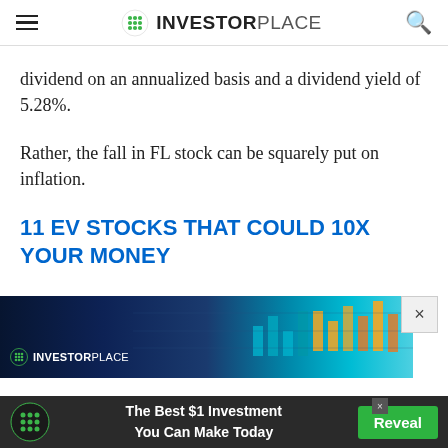INVESTORPLACE
dividend on an annualized basis and a dividend yield of 5.28%.
Rather, the fall in FL stock can be squarely put on inflation.
11 EV STOCKS THAT COULD 10X YOUR MONEY
[Figure (screenshot): InvestorPlace advertisement banner showing stock chart graphics with candlestick patterns in blue and orange on dark background]
[Figure (screenshot): Bottom advertisement bar: InvestorPlace logo, 'The Best $1 Investment You Can Make Today' with green Reveal button]